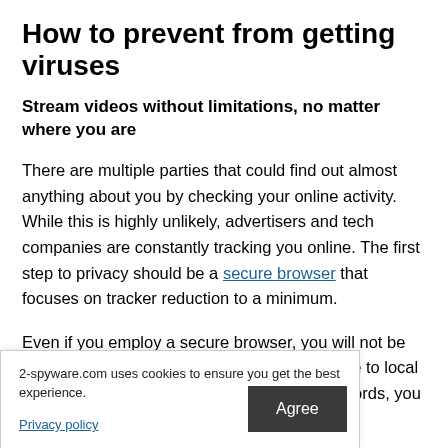How to prevent from getting viruses
Stream videos without limitations, no matter where you are
There are multiple parties that could find out almost anything about you by checking your online activity. While this is highly unlikely, advertisers and tech companies are constantly tracking you online. The first step to privacy should be a secure browser that focuses on tracker reduction to a minimum.
Even if you employ a secure browser, you will not be able to access websites that are restricted due to local government laws or other reasons. In other words, you may not be able me countries. To n provides
2-spyware.com uses cookies to ensure you get the best experience.
Privacy policy
Agree